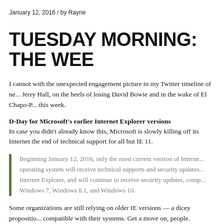January 12, 2016 / by Rayne
TUESDAY MORNING: THE WEE
I cannot with the unexpected engagement picture in my Twitter timeline of ne... Jerry Hall, on the heels of losing David Bowie and in the wake of El Chapo-P... this week.
D-Day for Microsoft's earlier Internet Explorer versions
In case you didn't already know this, Microsoft is slowly killing off its Internet the end of technical support for all but IE 11.
Beginning January 12, 2016, only the most current version of Interne... operating system will receive technical supports and security updates... Internet Explorer, and will continue to receive security updates, comp... Windows 7, Windows 8.1, and Windows 10.
Some organizations are still relying on older IE versions — a dicey propositio... compatible with their systems. Get a move on, people.